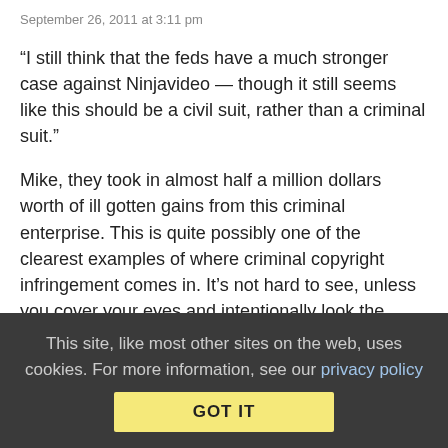September 26, 2011 at 3:11 pm
“I still think that the feds have a much stronger case against Ninjavideo — though it still seems like this should be a civil suit, rather than a criminal suit.”
Mike, they took in almost half a million dollars worth of ill gotten gains from this criminal enterprise. This is quite possibly one of the clearest examples of where criminal copyright infringement comes in. It’s not hard to see, unless you cover your eyes and intentionally look the other direction.
Collapse replies (48) | Reply | View in chronology
[Figure (other): Row of five icon symbols: lightbulb, happy/laughing face, open quote, close quote, flag]
This site, like most other sites on the web, uses cookies. For more information, see our privacy policy
GOT IT